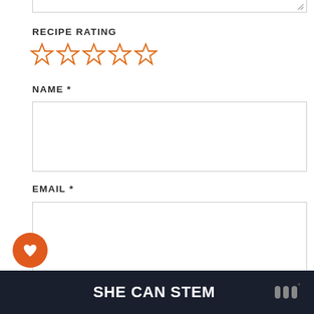RECIPE RATING
☆☆☆☆☆ (5 empty stars)
NAME *
EMAIL *
BSITE (WEBSITE)
SHE CAN STEM